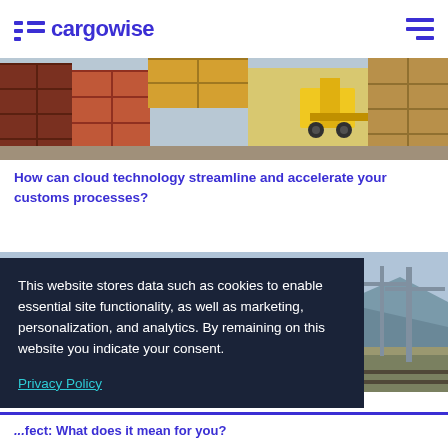cargowise
[Figure (photo): Shipping containers and forklift at a cargo/logistics facility]
How can cloud technology streamline and accelerate your customs processes?
[Figure (photo): Port with stacked shipping containers, cranes, and logistics infrastructure]
This website stores data such as cookies to enable essential site functionality, as well as marketing, personalization, and analytics. By remaining on this website you indicate your consent.
Privacy Policy
ect: What does it mean for you?